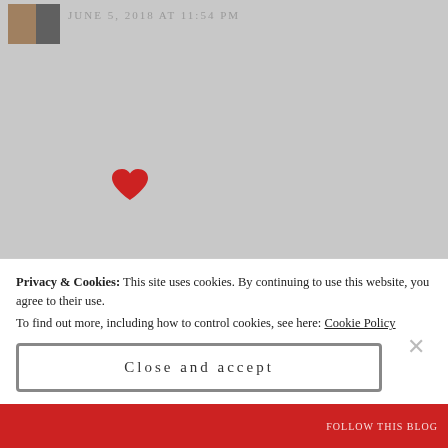JUNE 5, 2018 AT 11:54 PM
[Figure (illustration): Red heart emoji symbol]
★ Liked by 1 person
Reply
[Figure (photo): User avatar thumbnail with colorful image]
Privacy & Cookies: This site uses cookies. By continuing to use this website, you agree to their use. To find out more, including how to control cookies, see here: Cookie Policy
Close and accept